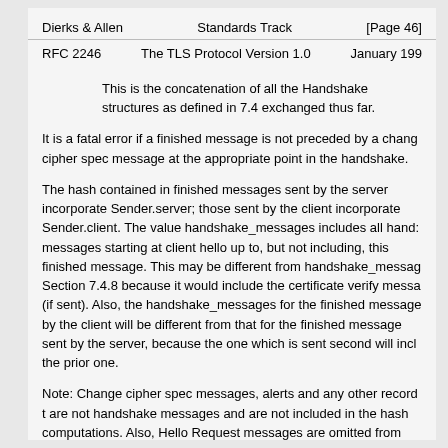Dierks & Allen                    Standards Track                    [Page 46]
RFC 2246              The TLS Protocol Version 1.0              January 199
This is the concatenation of all the Handshake structures as defined in 7.4 exchanged thus far.
It is a fatal error if a finished message is not preceded by a change cipher spec message at the appropriate point in the handshake.
The hash contained in finished messages sent by the server incorporate Sender.server; those sent by the client incorporate Sender.client. The value handshake_messages includes all handshake messages starting at client hello up to, but not including, this finished message. This may be different from handshake_messages in Section 7.4.8 because it would include the certificate verify message (if sent). Also, the handshake_messages for the finished message sent by the client will be different from that for the finished message sent by the server, because the one which is sent second will include the prior one.
Note: Change cipher spec messages, alerts and any other record types are not handshake messages and are not included in the hash computations. Also, Hello Request messages are omitted from